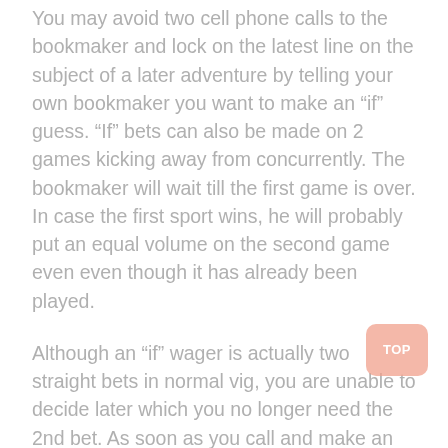You may avoid two cell phone calls to the bookmaker and lock on the latest line on the subject of a later adventure by telling your own bookmaker you want to make an “if” guess. “If” bets can also be made on 2 games kicking away from concurrently. The bookmaker will wait till the first game is over. In case the first sport wins, he will probably put an equal volume on the second game even even though it has already been played.
Although an “if” wager is actually two straight bets in normal vig, you are unable to decide later which you no longer need the 2nd bet. As soon as you call and make an “if” bet, the 2nd wager cannot be terminated, even if typically the second game provides not gone off of yet. If typically the first game benefits, you will possess action on the second game. For that reason, there may be less control over an “if” bet than over two straight gamble. When the two